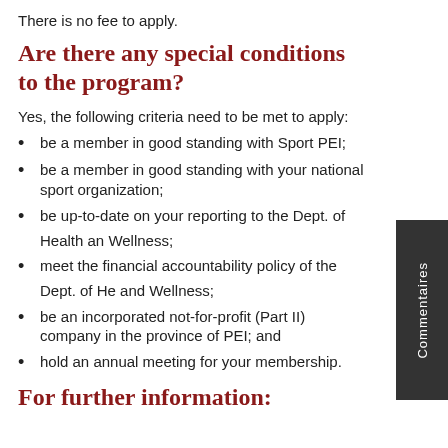There is no fee to apply.
Are there any special conditions to the program?
Yes, the following criteria need to be met to apply:
be a member in good standing with Sport PEI;
be a member in good standing with your national sport organization;
be up-to-date on your reporting to the Dept. of Health and Wellness;
meet the financial accountability policy of the Dept. of Health and Wellness;
be an incorporated not-for-profit (Part II) company in the province of PEI; and
hold an annual meeting for your membership.
For further information: